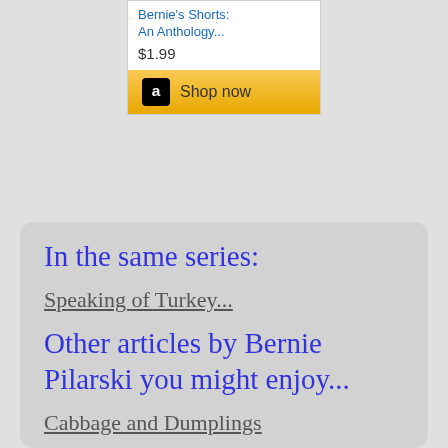Bernie's Shorts: An Anthology...
$1.99
[Figure (screenshot): Amazon Shop now button with Amazon logo on gold/yellow background]
In the same series:
Speaking of Turkey...
Other articles by Bernie Pilarski you might enjoy...
Cabbage and Dumplings
What Do I Know 10
Picture This